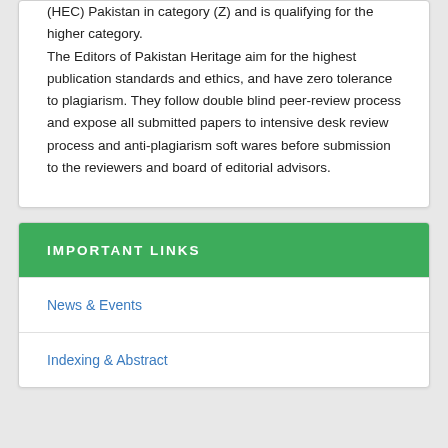(HEC) Pakistan in category (Z) and is qualifying for the higher category.

The Editors of Pakistan Heritage aim for the highest publication standards and ethics, and have zero tolerance to plagiarism. They follow double blind peer-review process and expose all submitted papers to intensive desk review process and anti-plagiarism soft wares before submission to the reviewers and board of editorial advisors.
IMPORTANT LINKS
News & Events
Indexing & Abstract